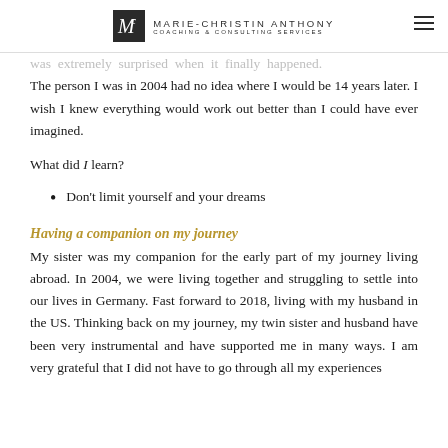MARIE-CHRISTIN ANTHONY COACHING & CONSULTING SERVICES
was extremely surprised when it finally happened. The person I was in 2004 had no idea where I would be 14 years later. I wish I knew everything would work out better than I could have ever imagined.
What did I learn?
Don't limit yourself and your dreams
Having a companion on my journey
My sister was my companion for the early part of my journey living abroad. In 2004, we were living together and struggling to settle into our lives in Germany. Fast forward to 2018, living with my husband in the US. Thinking back on my journey, my twin sister and husband have been very instrumental and have supported me in many ways. I am very grateful that I did not have to go through all my experiences